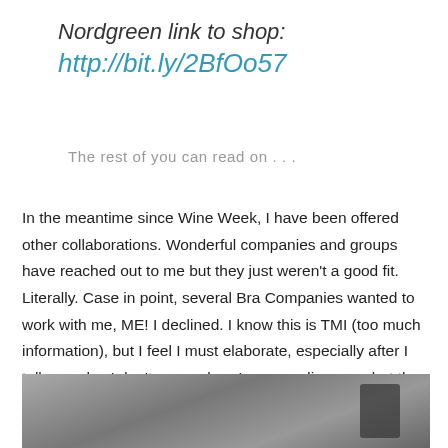Nordgreen link to shop:
http://bit.ly/2BfOo57
The rest of you can read on . . .
In the meantime since Wine Week, I have been offered other collaborations. Wonderful companies and groups have reached out to me but they just weren't a good fit. Literally. Case in point, several Bra Companies wanted to work with me, ME! I declined. I know this is TMI (too much information), but I feel I must elaborate, especially after I tell you why. I don't wear a bra. I wear undies, yes, but they aren't "bras".
[Figure (photo): Black and white photograph of a person, partially visible, grainy vintage style]